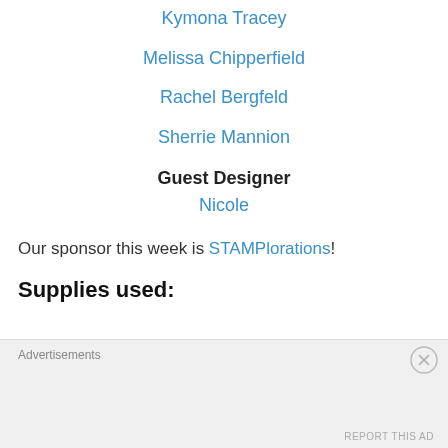Kymona Tracey
Melissa Chipperfield
Rachel Bergfeld
Sherrie Mannion
Guest Designer
Nicole
Our sponsor this week is STAMPlorations!
Supplies used:
Advertisements